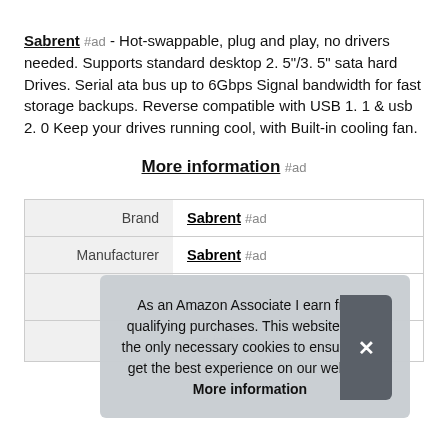Sabrent #ad - Hot-swappable, plug and play, no drivers needed. Supports standard desktop 2. 5"/3. 5" sata hard Drives. Serial ata bus up to 6Gbps Signal bandwidth for fast storage backups. Reverse compatible with USB 1. 1 & usb 2. 0 Keep your drives running cool, with Built-in cooling fan.
More information #ad
|  |  |
| --- | --- |
| Brand | Sabrent #ad |
| Manufacturer | Sabrent #ad |
|  |  |
As an Amazon Associate I earn from qualifying purchases. This website uses the only necessary cookies to ensure you get the best experience on our website. More information